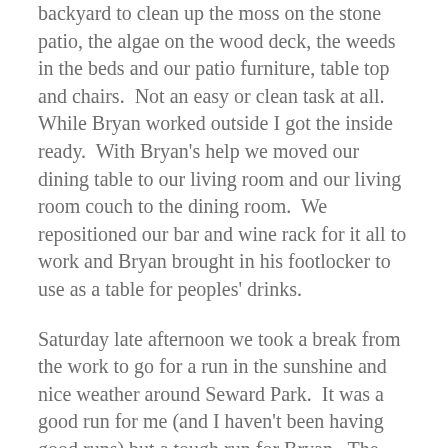backyard to clean up the moss on the stone patio, the algae on the wood deck, the weeds in the beds and our patio furniture, table top and chairs.  Not an easy or clean task at all.  While Bryan worked outside I got the inside ready.  With Bryan's help we moved our dining table to our living room and our living room couch to the dining room.  We repositioned our bar and wine rack for it all to work and Bryan brought in his footlocker to use as a table for peoples' drinks.
Saturday late afternoon we took a break from the work to go for a run in the sunshine and nice weather around Seward Park.  It was a good run for me (and I haven't been having good runs) but a tough run for Bryan.  The mix of countless hours worked, work in the backyard, and stress for the past couple of weeks surely played into it.  But he